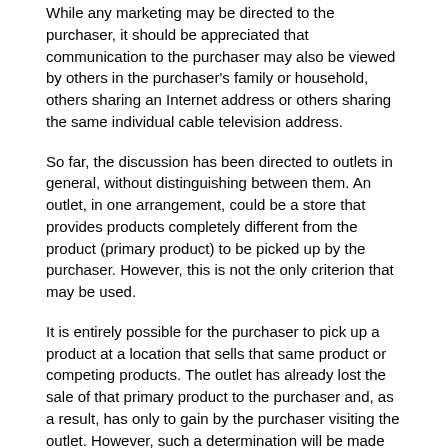While any marketing may be directed to the purchaser, it should be appreciated that communication to the purchaser may also be viewed by others in the purchaser's family or household, others sharing an Internet address or others sharing the same individual cable television address.
So far, the discussion has been directed to outlets in general, without distinguishing between them. An outlet, in one arrangement, could be a store that provides products completely different from the product (primary product) to be picked up by the purchaser. However, this is not the only criterion that may be used.
It is entirely possible for the purchaser to pick up a product at a location that sells that same product or competing products. The outlet has already lost the sale of that primary product to the purchaser and, as a result, has only to gain by the purchaser visiting the outlet. However, such a determination will be made by the outlet and it is entirely possible that an outlet carrying competing products may not wish to induce this purchaser to visit.
This method can also benefit advertisers unrelated to the